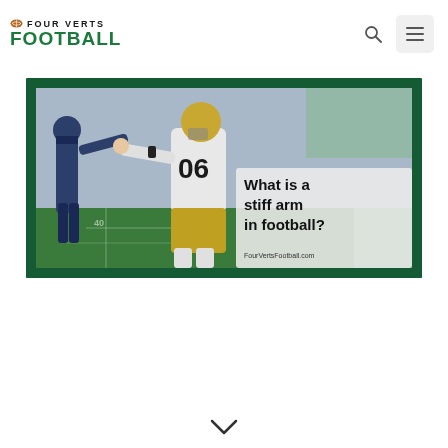FOUR VERTS FOOTBALL
[Figure (photo): Football player in white jersey number 06 performing a stiff arm against a defender in dark uniform, on a football field. Overlay text reads 'What is a stiff arm in football?' with FourVertsFootball.com URL. Green border frame around the image.]
[Figure (other): Downward-pointing chevron/arrow icon at bottom center of page]